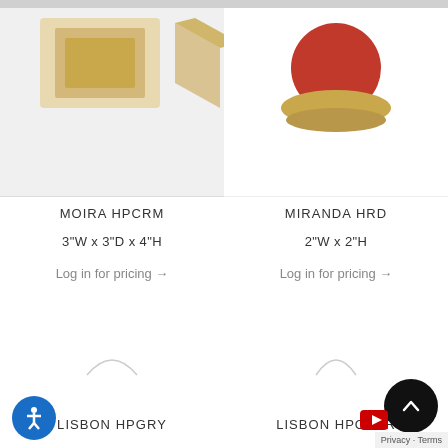[Figure (photo): Cropped top portion of two product images: left shows a gold geometric decorative piece, right shows a red and gold decorative object]
MOIRA HPCRM
3"W x 3"D x 4"H
Log in for pricing →
MIRANDA HRD
2"W x 2"H
Log in for pricing →
[Figure (photo): Loading spinner arc icon for LISBON HPGRY product]
[Figure (photo): Loading spinner arc icon for LISBON HPCHAR product]
LISBON HPGRY
LISBON HPCHAR